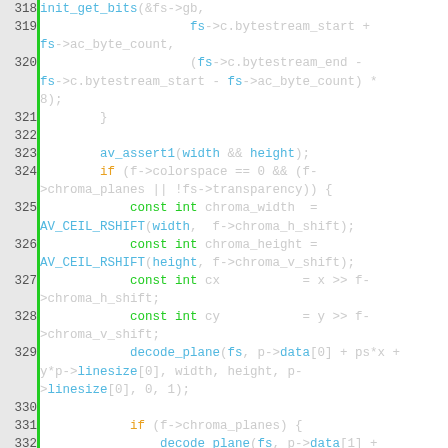[Figure (screenshot): Source code listing showing C code lines 318-336 with syntax highlighting. Line numbers on left, green vertical bar, code on right. Keywords in orange, function names and types in blue, other code in light gray on white background.]